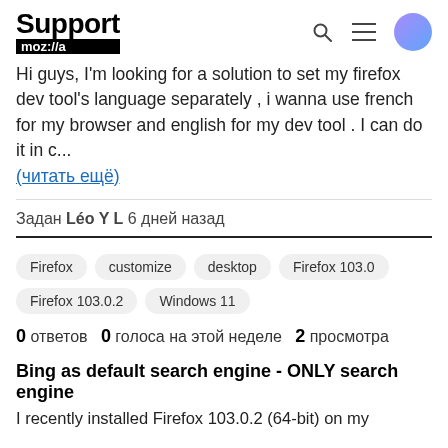Support mozilla// [search icon] [menu icon] [avatar]
Hi guys, I'm looking for a solution to set my firefox dev tool's language separately , i wanna use french for my browser and english for my dev tool . I can do it in c...
(читать ещё)
Задан Léo Y L 6 дней назад
Firefox
customize
desktop
Firefox 103.0
Firefox 103.0.2
Windows 11
0 ответов  0 голоса на этой неделе  2 просмотра
Bing as default search engine - ONLY search engine
I recently installed Firefox 103.0.2 (64-bit) on my